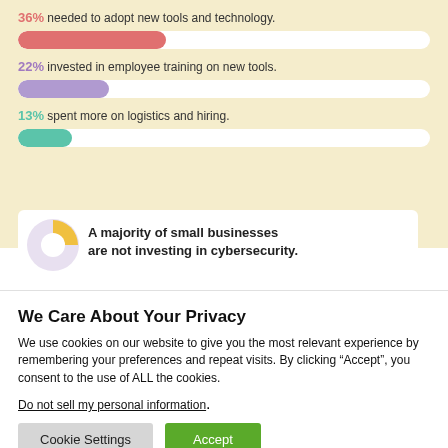[Figure (infographic): Horizontal bar chart infographic showing percentage stats: 36% needed to adopt new tools and technology, 22% invested in employee training on new tools, 13% spent more on logistics and hiring. Each stat has a colored bar on a cream background.]
A majority of small businesses are not investing in cybersecurity.
We Care About Your Privacy
We use cookies on our website to give you the most relevant experience by remembering your preferences and repeat visits. By clicking “Accept”, you consent to the use of ALL the cookies.
Do not sell my personal information.
Cookie Settings
Accept